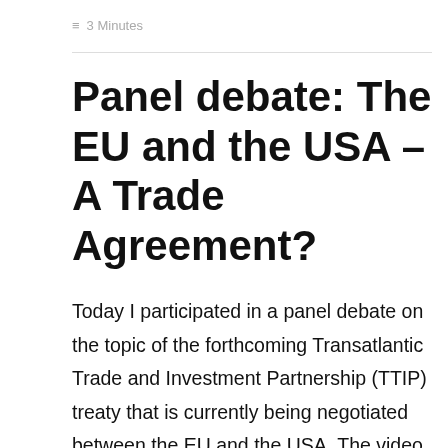≡ 3 Minutes
Panel debate: The EU and the USA – A Trade Agreement?
Today I participated in a panel debate on the topic of the forthcoming Transatlantic Trade and Investment Partnership (TTIP) treaty that is currently being negotiated between the EU and the USA. The video stream from the panel debate may be viewed right here (the first couple of minutes of the video are in Norwegian, but the panel debate itself is in English):